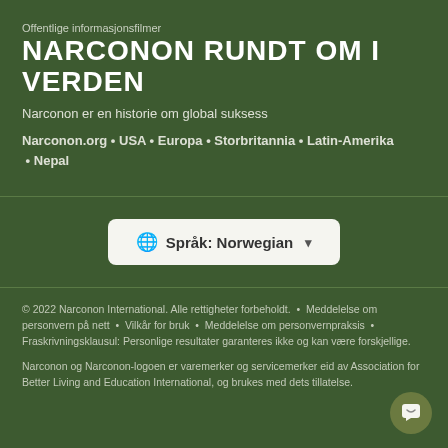Offentlige informasjonsfilmer
NARCONON RUNDT OM I VERDEN
Narconon er en historie om global suksess
Narconon.org • USA • Europa • Storbritannia • Latin-Amerika • Nepal
[Figure (screenshot): Language selector button showing 'Språk: Norwegian' with globe icon and dropdown arrow]
© 2022 Narconon International. Alle rettigheter forbeholdt. • Meddelelse om personvern på nett • Vilkår for bruk • Meddelelse om personvernpraksis • Fraskrivningsklausul: Personlige resultater garanteres ikke og kan være forskjellige.

Narconon og Narconon-logoen er varemerker og servicemerker eid av Association for Better Living and Education International, og brukes med dets tillatelse.